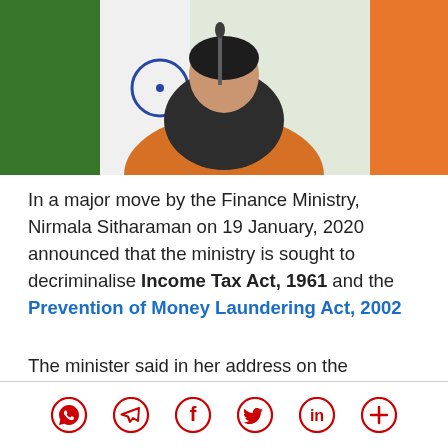[Figure (photo): Photo of Nirmala Sitharaman at a podium with Indian flag in the background, wearing an orange saree]
In a major move by the Finance Ministry, Nirmala Sitharaman on 19 January, 2020 announced that the ministry is sought to decriminalise Income Tax Act, 1961 and the Prevention of Money Laundering Act, 2002
The minister said in her address on the 'roadmap to a $5 trillion economy' at the Nani Palkhivala centenary celebrations in Chennai on Sunday that decriminalising corporate laws, settling tax disputes and rapid privatisation of state-run firms were among the steps that the government was taking to achieve the goal.
[Figure (infographic): Social sharing icons: WhatsApp, Telegram, Facebook, Twitter, LinkedIn, More]